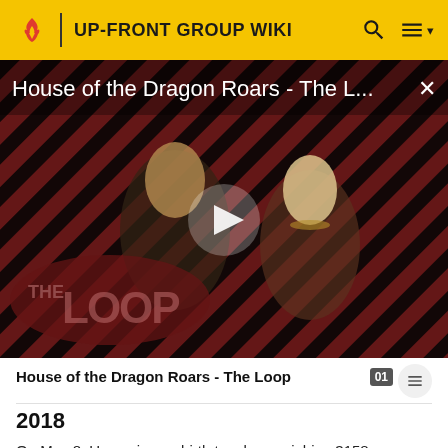UP-FRONT GROUP WIKI
[Figure (screenshot): Video thumbnail for 'House of the Dragon Roars - The Loop' showing two characters from a fantasy TV show against a red diagonal stripe background, with a play button in the center and 'THE LOOP' logo text at bottom left. Title text overlay reads 'House of the Dragon Roars - The L...' with an X close button.]
House of the Dragon Roars - The Loop
2018
On May 8, Uozumi gave birth to a boy weighing 3158 grams.[16]